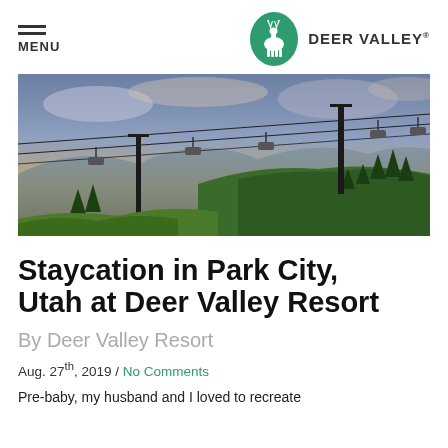MENU | DEER VALLEY
[Figure (photo): Ski lift chairlift silhouetted against a sunset sky over mountain landscape with green trees at Deer Valley Resort]
Staycation in Park City, Utah at Deer Valley Resort
By Deer Valley Resort
Aug. 27th, 2019 / No Comments
Pre-baby, my husband and I loved to recreate